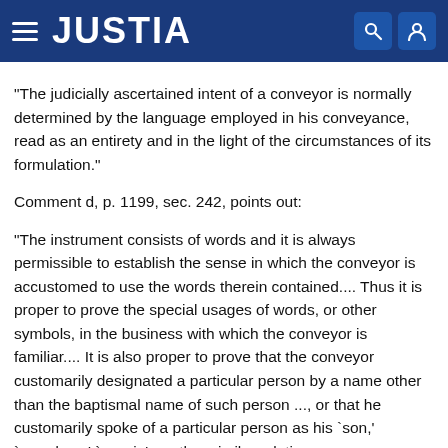JUSTIA
"The judicially ascertained intent of a conveyor is normally determined by the language employed in his conveyance, read as an entirety and in the light of the circumstances of its formulation."
Comment d, p. 1199, sec. 242, points out:
"The instrument consists of words and it is always permissible to establish the sense in which the conveyor is accustomed to use the words therein contained.... Thus it is proper to prove the special usages of words, or other symbols, in the business with which the conveyor is familiar.... It is also proper to prove that the conveyor customarily designated a particular person by a name other than the baptismal name of such person ..., or that he customarily spoke of a particular person as his `son,' `grandson,' `cousin' or other similar relation,